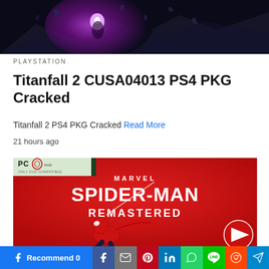[Figure (photo): Dark fantasy/action game art with purple energy burst and battle scene, cropped at top]
PLAYSTATION
Titanfall 2 CUSA04013 PS4 PKG Cracked
Titanfall 2 PS4 PKG Cracked Read More
21 hours ago
[Figure (photo): Marvel Spider-Man Remastered PC DVD game cover art — red background with Spider-Man swinging, title text in large white letters]
[Figure (other): Social sharing bar with Facebook Recommend button, Facebook, Gmail, Pinterest, LinkedIn, WhatsApp, LINE, Reddit, and Telegram icons]